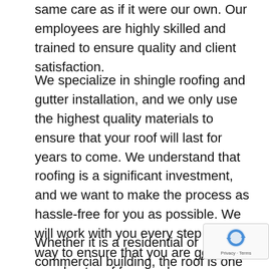same care as if it were our own. Our employees are highly skilled and trained to ensure quality and client satisfaction.
We specialize in shingle roofing and gutter installation, and we only use the highest quality materials to ensure that your roof will last for years to come. We understand that roofing is a significant investment, and we want to make the process as hassle-free for you as possible. We will work with you every step of the way to ensure that you are getting the very best roof for your home or business.
Whether it is a residential or commercial building, the roof is one of the most important
[Figure (logo): reCAPTCHA badge with Privacy and Terms links]